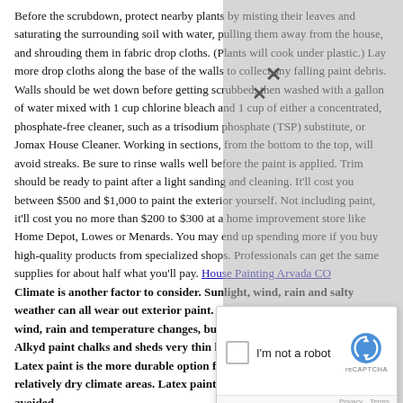Before the scrubdown, protect nearby plants by misting their leaves and saturating the surrounding soil with water, pulling them away from the house, and shrouding them in fabric drop cloths. (Plants will cook under plastic.) Lay more drop cloths along the base of the walls to collect any falling paint debris. Walls should be wet down before getting scrubbed, then washed with a gallon of water mixed with 1 cup chlorine bleach and 1 cup of either a concentrated, phosphate-free cleaner, such as a trisodium phosphate (TSP) substitute, or Jomax House Cleaner. Working in sections, from the bottom to the top, will avoid streaks. Be sure to rinse walls well before the paint is applied. Trim should be ready to paint after a light sanding and cleaning. It'll cost you between $500 and $1,000 to paint the exterior yourself. Not including paint, it'll cost you no more than $200 to $300 at a home improvement store like Home Depot, Lowes or Menards. You may end up spending more if you buy high-quality products from specialized shops. Professionals can get the same supplies for about half what you'll pay. House Painting Arvada CO
Climate is another factor to consider. Sunlight, wind, rain and salty weather can all wear out exterior paint. Oil-based paint is durable against wind, rain and temperature changes, but sunlight tends to degrade it. Alkyd paint chalks and sheds very thin layers when it begins to wear. Latex paint is the more durable option for very sun-drenched and relatively dry climate areas. Latex paint with high vinyl content should be avoided,
[Figure (other): reCAPTCHA widget with 'I'm not a robot' checkbox and Google reCAPTCHA logo, overlaid on text content with a gray curtain. An X close button appears at top.]